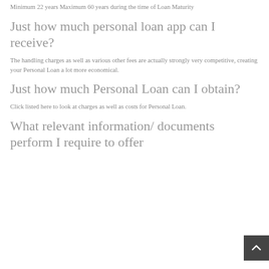Minimum 22 years Maximum 60 years during the time of Loan Maturity
Just how much personal loan app can I receive?
The handling charges as well as various other fees are actually strongly very competitive, creating your Personal Loan a lot more economical.
Just how much Personal Loan can I obtain?
Click listed here to look at charges as well as costs for Personal Loan.
What relevant information/ documents perform I require to offer